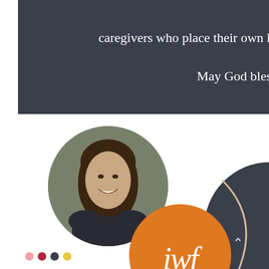caregivers who place their own lives in danger to render aid.

May God bless you all.
[Figure (photo): Circular headshot of a smiling woman with long dark hair, wearing a dark top, against a blurred background]
[Figure (logo): IWF logo: orange circle with white italic script letters 'iwf']
[Figure (illustration): Partial dark navy circle on the right side with a tan/cream arc overlay and a small upward caret arrow]
[Figure (infographic): Navigation dots in four colors: pink, dark red, navy, yellow]